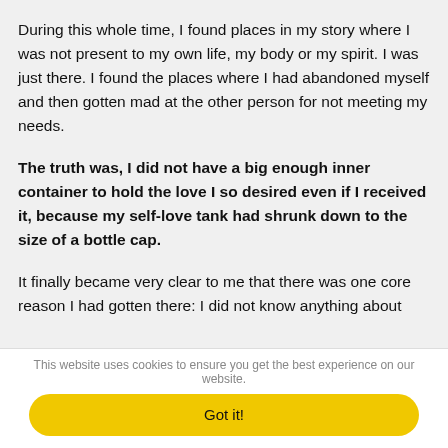During this whole time, I found places in my story where I was not present to my own life, my body or my spirit. I was just there. I found the places where I had abandoned myself and then gotten mad at the other person for not meeting my needs.
The truth was, I did not have a big enough inner container to hold the love I so desired even if I received it, because my self-love tank had shrunk down to the size of a bottle cap.
It finally became very clear to me that there was one core reason I had gotten there: I did not know anything about
This website uses cookies to ensure you get the best experience on our website.
Got it!